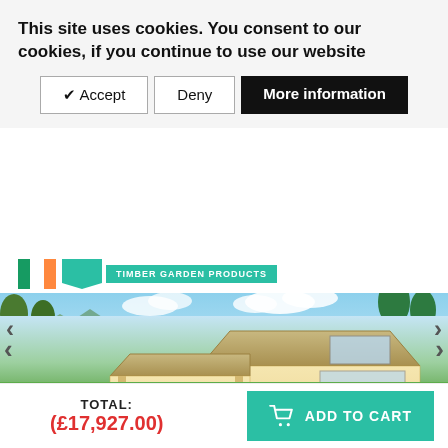This site uses cookies. You consent to our cookies, if you continue to use our website
✔ Accept | Deny | More information
[Figure (logo): Timber Garden Products logo with Irish flag colors and teal banner]
[Figure (photo): A large wooden log cabin/garden building with covered porch area, large glass doors, surrounded by garden scenery with trees and flowers. Navigation arrows on left and right sides.]
TOTAL: (£17,927.00)
ADD TO CART